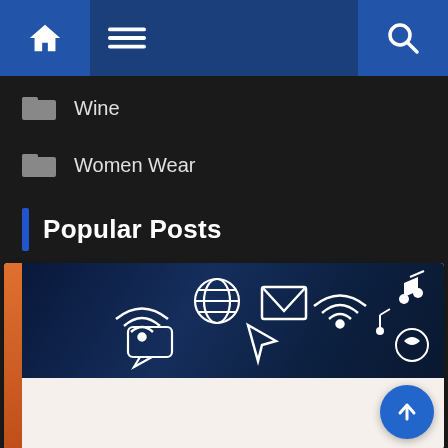Navigation bar with home, menu, and search icons
Wine
Women Wear
Popular Posts
[Figure (screenshot): A card with an orange left strip, a dark blue header image containing floating internet/media icons (wifi, globe, email, music note, arrow), and a white/cream body area below the image. A blue circular scroll-to-top arrow button appears in the bottom right.]